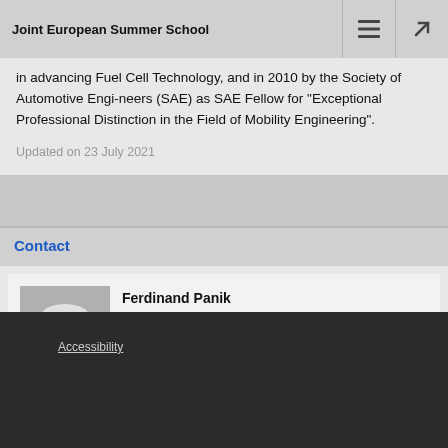Joint European Summer School
in advancing Fuel Cell Technology, and in 2010 by the Society of Automotive Engi-neers (SAE) as SAE Fellow for “Exceptional Professional Distinction in the Field of Mobility Engineering”.
Updated on 23 July 2021
Contact
[Figure (photo): Black and white portrait photo of Ferdinand Panik, an elderly man with white hair, glasses, wearing a white shirt]
Ferdinand Panik
Prof. Dr.
University of Applied Science Esslingen (UASE), Germany
Accessibility